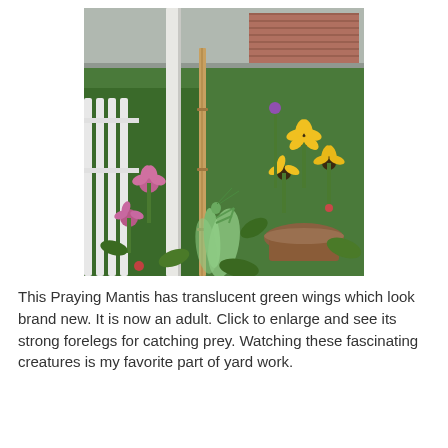[Figure (photo): A praying mantis clinging to a wooden stake in a garden. The garden features purple coneflowers (echinacea) on the left and yellow black-eyed Susan flowers on the right. White picket fence visible on the left. A brick building is visible in the background. A clay pot or bird bath is in the lower right.]
This Praying Mantis has translucent green wings which look brand new. It is now an adult. Click to enlarge and see its strong forelegs for catching prey. Watching these fascinating creatures is my favorite part of yard work.